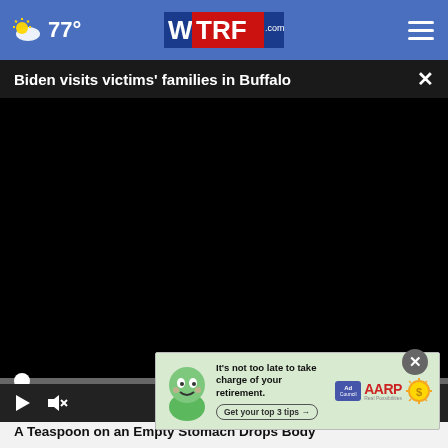77° WTRF.com
Biden visits victims' families in Buffalo
[Figure (screenshot): Black video player area showing paused video with 00:00 timestamp, play button, mute button, and fullscreen button controls at the bottom.]
A Teaspoon on an Empty Stomach Drops Body Weight Like Crazy!
Trending
[Figure (infographic): AARP advertisement banner: green cartoon character on left, text 'It's not too late to take charge of your retirement. Get your top 3 tips →', Ad Council badge, AARP logo, and gold sun/coin icon.]